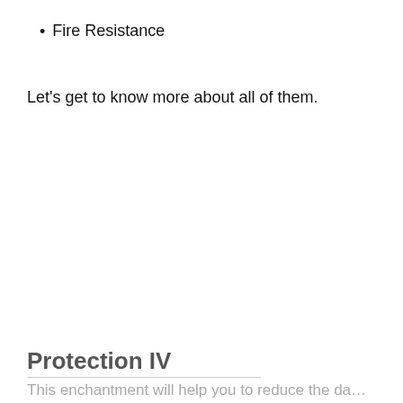Fire Resistance
Let's get to know more about all of them.
Protection IV
This enchantment will help you to reduce the da…